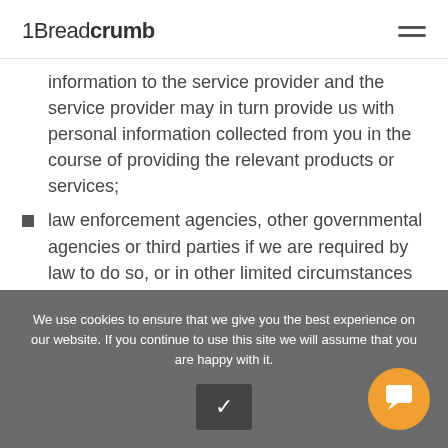1Breadcrumb
information to the service provider and the service provider may in turn provide us with personal information collected from you in the course of providing the relevant products or services;
law enforcement agencies, other governmental agencies or third parties if we are required by law to do so, or in other limited circumstances (for
We use cookies to ensure that we give you the best experience on our website. If you continue to use this site we will assume that you are happy with it.